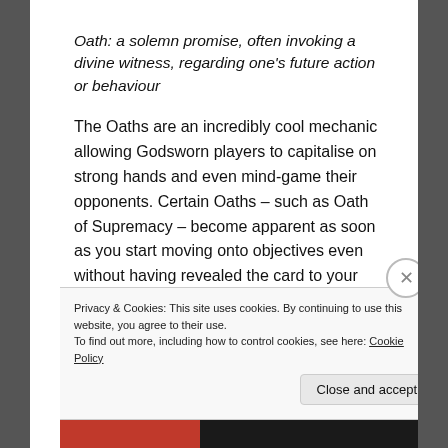Oath: a solemn promise, often invoking a divine witness, regarding one's future action or behaviour
The Oaths are an incredibly cool mechanic allowing Godsworn players to capitalise on strong hands and even mind-game their opponents. Certain Oaths – such as Oath of Supremacy – become apparent as soon as you start moving onto objectives even without having revealed the card to your enemy. In these cases showing your
Privacy & Cookies: This site uses cookies. By continuing to use this website, you agree to their use.
To find out more, including how to control cookies, see here: Cookie Policy
Close and accept